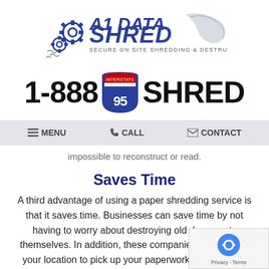[Figure (logo): A1 Data Shred logo with gear icons and text 'A1 DATA SHRED - SECURE ON SITE SHREDDING & DESTRUCTION' with a stylized shredder graphic]
1-888 95 SHRED
[Figure (infographic): Navigation bar with MENU, CALL, and CONTACT options on a light gray background]
impossible to reconstruct or read.
Saves Time
A third advantage of using a paper shredding service is that it saves time. Businesses can save time by not having to worry about destroying old documents themselves. In addition, these companies will come to your location to pick up your paperwork, so you don't even have to leave your office.